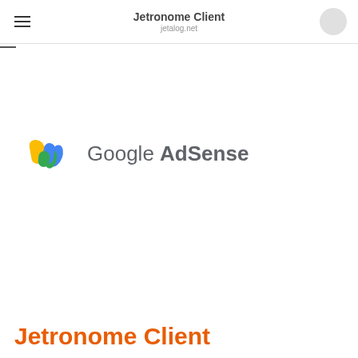Jetronome Client
jetalog.net
[Figure (logo): Google AdSense logo with yellow and blue/green chevron icon followed by the text 'Google AdSense' in gray]
Jetronome Client